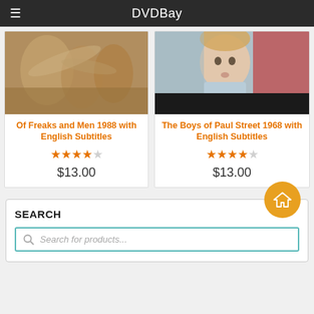DVDBay
[Figure (photo): Sepia-toned photo of people on the ground, historical/artistic scene]
Of Freaks and Men 1988 with English Subtitles
★★★★☆ $13.00
[Figure (photo): Color photo of a young boy looking surprised, with a dark band at bottom]
The Boys of Paul Street 1968 with English Subtitles
★★★★☆ $13.00
SEARCH
Search for products...